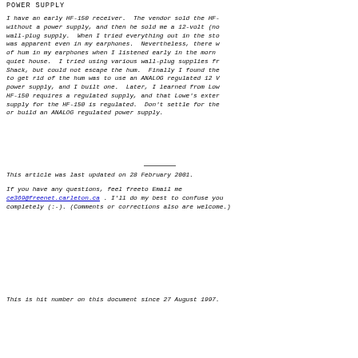POWER SUPPLY
I have an early HF-150 receiver. The vendor sold the HF- without a power supply, and then he sold me a 12-volt (no wall-plug supply. When I tried everything out in the sto was apparent even in my earphones. Nevertheless, there w of hum in my earphones when I listened early in the morn quiet house. I tried using various wall-plug supplies fr Shack, but could not escape the hum. Finally I found the to get rid of the hum was to use an ANALOG regulated 12 V power supply, and I built one. Later, I learned from Low HF-150 requires a regulated supply, and that Lowe's exter supply for the HF-150 is regulated. Don't settle for the or build an ANALOG regulated power supply.
This article was last updated on 28 February 2001.
If you have any questions, feel freeto Email me ce369@freenet.carleton.ca . I'll do my best to confuse you completely (:-). (Comments or corrections also are welcome.)
This is hit number on this document since 27 August 1997.